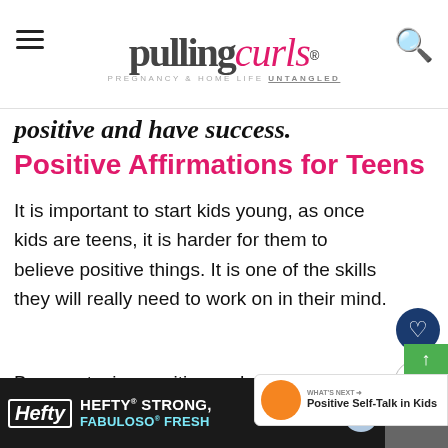pulling curls — PREGNANCY & HOME LIFE UNTANGLED
positive and have success.
Positive Affirmations for Teens
It is important to start kids young, as once kids are teens, it is harder for them to believe positive things. It is one of the skills they will really need to work on in their mind.
By you staying positive and sharing positive things, parents can help them get started with it, changes today!